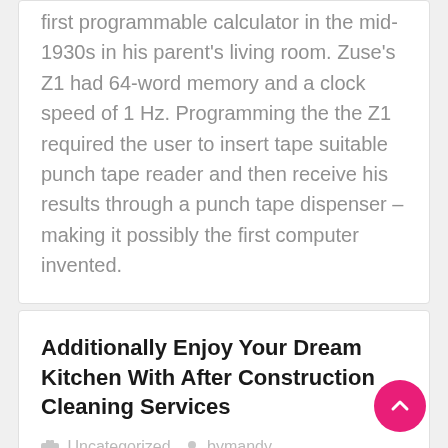first programmable calculator in the mid-1930s in his parent's living room. Zuse's Z1 had 64-word memory and a clock speed of 1 Hz. Programming the the Z1 required the user to insert tape suitable punch tape reader and then receive his results through a punch tape dispenser – making it possibly the first computer invented.
Additionally Enjoy Your Dream Kitchen With After Construction Cleaning Services
Uncategorized   bymandy
Clearing up the rubble left behind by construction work can be tedious and time-